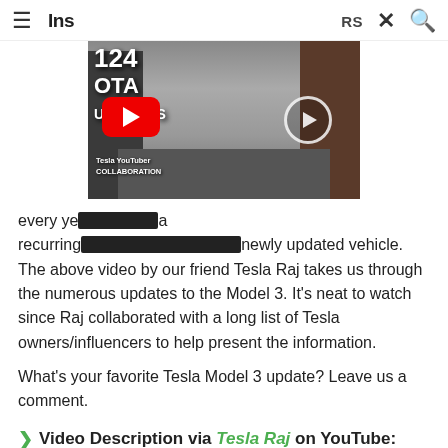≡ Ins  RS 🔍
[Figure (screenshot): YouTube video thumbnail showing '124 OTA UPDATES' text overlay on a street scene with a Tesla car, featuring a red YouTube play button and a circular play button overlay. Bottom left shows 'Tesla YouTuber COLLABORATION' text.]
every ye... a recurring... newly updated vehicle. The above video by our friend Tesla Raj takes us through the numerous updates to the Model 3. It's neat to watch since Raj collaborated with a long list of Tesla owners/influencers to help present the information.
What's your favorite Tesla Model 3 update? Leave us a comment.
❯ Video Description via Tesla Raj on YouTube:
All 124 OTA Enhancements for your Tesla